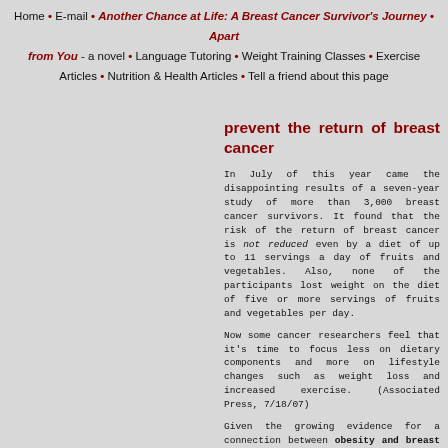Home • E-mail • Another Chance at Life: A Breast Cancer Survivor's Journey • Apart from You - a novel • Language Tutoring • Weight Training Classes • Exercise Articles • Nutrition & Health Articles • Tell a friend about this page
prevent the return of breast cancer
In July of this year came the disappointing results of a seven-year study of more than 3,000 breast cancer survivors. It found that the risk of the return of breast cancer is not reduced even by a diet of up to 11 servings a day of fruits and vegetables. Also, none of the participants lost weight on the diet of five or more servings of fruits and vegetables per day.
Now some cancer researchers feel that it's time to focus less on dietary components and more on lifestyle changes such as weight loss and increased exercise. (Associated Press, 7/18/07)
Given the growing evidence for a connection between obesity and breast cancer (excess abdominal and upper body fat seem to be the most